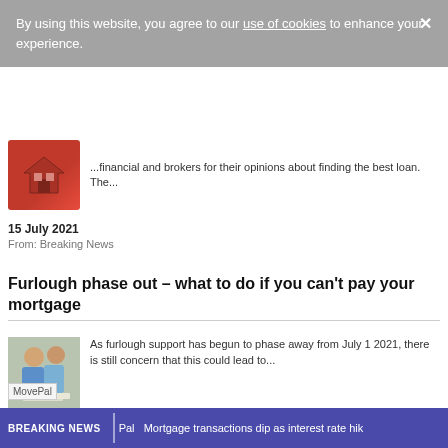By using this website, you agree to our use of cookies to enhance your experience.
[Figure (photo): Red house figurine photo (partially visible)]
...financial and brokers for their opinions about finding the best loan. The...
15 July 2021
From: Breaking News
Furlough phase out – what to do if you can't pay your mortgage
[Figure (photo): Couple sitting on floor reviewing documents]
As furlough support has begun to phase away from July 1 2021, there is still concern that this could lead to...
15 July 2021
From: Breaking News
[Figure (logo): MovePal logo]
BREAKING NEWS | Pal  Mortgage transactions dip as interest rate hik